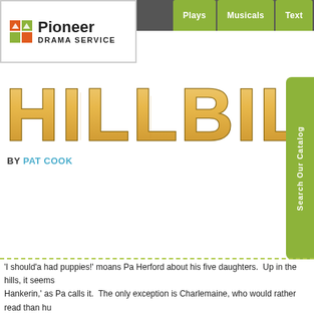[Figure (logo): Pioneer Drama Service logo with orange/green arrow icon and bold text]
Plays | Musicals | Texts
HILLBILLY HANKERIN'
BY PAT COOK
'I should'a had puppies!' moans Pa Herford about his five daughters. Up in the hills, it seems Hankerin,' as Pa calls it. The only exception is Charlemaine, who would rather read than hu Charlie it's love at first sight. Marcus, on the other hand, is only interested in buying land fro